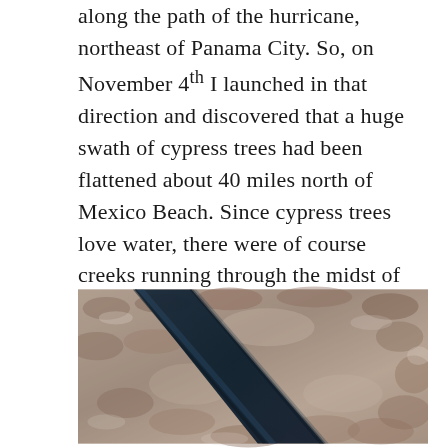along the path of the hurricane, northeast of Panama City. So, on November 4th I launched in that direction and discovered that a huge swath of cypress trees had been flattened about 40 miles north of Mexico Beach. Since cypress trees love water, there were of course creeks running through the midst of them. The Florida Panhandle watershed runs inexorably south towards the Gulf of Mexico (GOM).
[Figure (photo): Aerial photograph showing a dark creek or waterway cutting diagonally across a landscape of flattened brownish-grey cypress trees, viewed from above.]